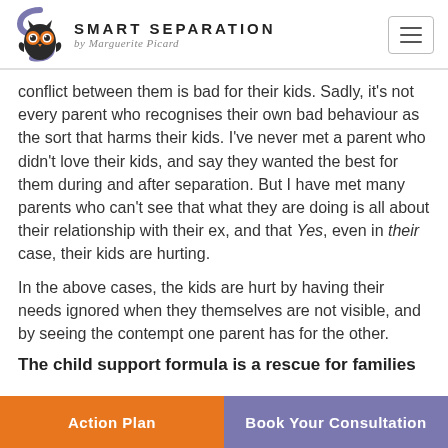Smart Separation by Marguerite Picard
conflict between them is bad for their kids. Sadly, it's not every parent who recognises their own bad behaviour as the sort that harms their kids. I've never met a parent who didn't love their kids, and say they wanted the best for them during and after separation. But I have met many parents who can't see that what they are doing is all about their relationship with their ex, and that Yes, even in their case, their kids are hurting.
In the above cases, the kids are hurt by having their needs ignored when they themselves are not visible, and by seeing the contempt one parent has for the other.
The child support formula is a rescue for families
Action Plan | Book Your Consultation